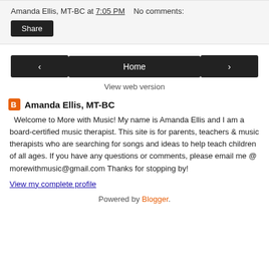Amanda Ellis, MT-BC at 7:05 PM   No comments:
Share
‹    Home    ›
View web version
Amanda Ellis, MT-BC
Welcome to More with Music! My name is Amanda Ellis and I am a board-certified music therapist. This site is for parents, teachers & music therapists who are searching for songs and ideas to help teach children of all ages. If you have any questions or comments, please email me @ morewithmusic@gmail.com Thanks for stopping by!
View my complete profile
Powered by Blogger.